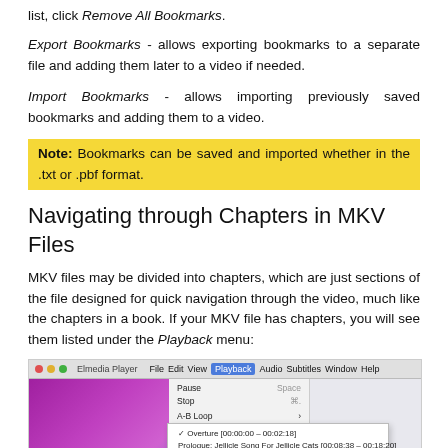list, click Remove All Bookmarks.
Export Bookmarks - allows exporting bookmarks to a separate file and adding them later to a video if needed.
Import Bookmarks - allows importing previously saved bookmarks and adding them to a video.
Note: Bookmarks can be saved and imported whether in the .txt or .pbf format.
Navigating through Chapters in MKV Files
MKV files may be divided into chapters, which are just sections of the file designed for quick navigation through the video, much like the chapters in a book. If your MKV file has chapters, you will see them listed under the Playback menu:
[Figure (screenshot): Screenshot of Elmedia Player showing the Playback menu open with Chapters submenu selected, listing various chapter names with timestamps.]